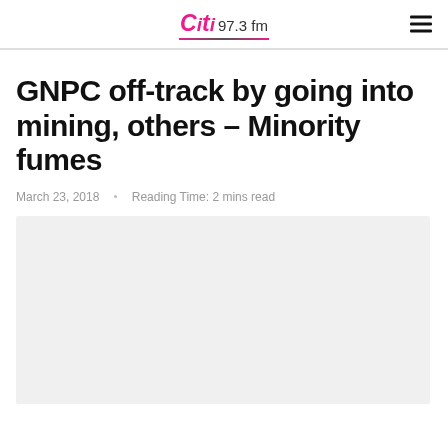Citi 97.3 fm
GNPC off-track by going into mining, others – Minority fumes
March 23, 2018  Reading Time: 2 mins read
[Figure (photo): Light grey placeholder image area for article photo]